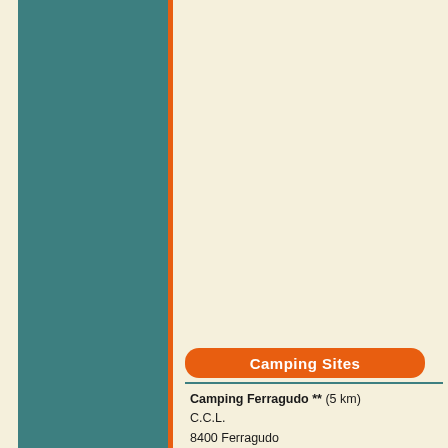[Figure (illustration): Left column teal/green decorative background panel with orange vertical stripe divider]
Camping Sites
Camping Ferragudo ** (5 km)
C.C.L.
8400 Ferragudo
Tel. ++351 282-461121/461259
Fax. ++351 282-461255